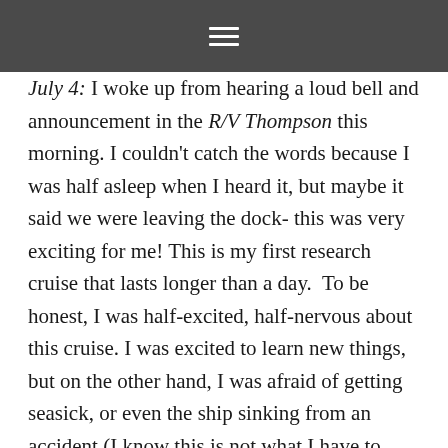☰
July 4: I woke up from hearing a loud bell and announcement in the R/V Thompson this morning. I couldn't catch the words because I was half asleep when I heard it, but maybe it said we were leaving the dock- this was very exciting for me! This is my first research cruise that lasts longer than a day.  To be honest, I was half-excited, half-nervous about this cruise. I was excited to learn new things, but on the other hand, I was afraid of getting seasick, or even the ship sinking from an accident (I know this is not what I have to worry about too much, but my crazy imagination kept myself entertained)